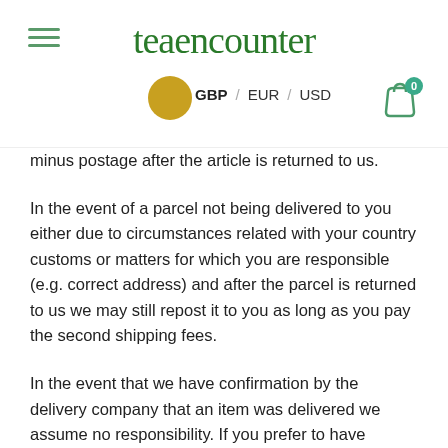teaencounter — GBP / EUR / USD
minus postage after the article is returned to us.
In the event of a parcel not being delivered to you either due to circumstances related with your country customs or matters for which you are responsible (e.g. correct address) and after the parcel is returned to us we may still repost it to you as long as you pay the second shipping fees.
In the event that we have confirmation by the delivery company that an item was delivered we assume no responsibility. If you prefer to have signed delivery please contact us before hand.
Please be aware that in case any custom charges are levied by your country customs we assume no responsibility for those charges.